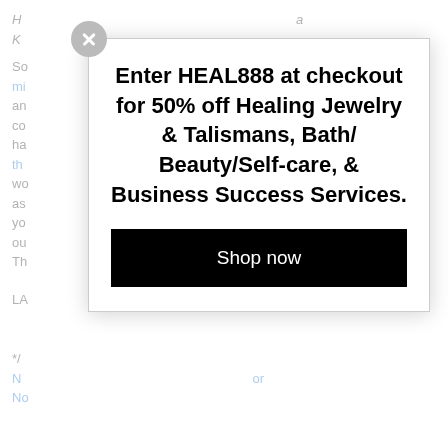Background page text partially visible behind modal popup
[Figure (screenshot): Modal popup dialog with close button (X), bold promotional headline, and black Shop now button. Headline reads: Enter HEAL888 at checkout for 50% off Healing Jewelry & Talismans, Bath/ Beauty/Self-care, & Business Success Services.]